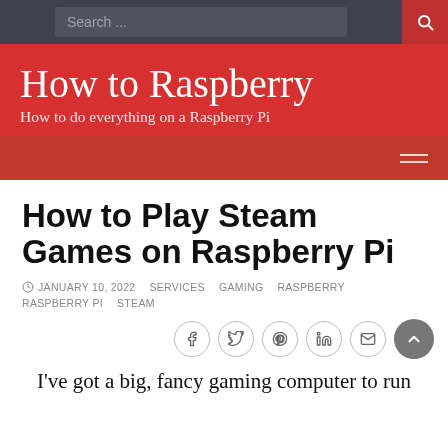Search ...
How to Raspberry
How to do everything on a Raspberry Pi
How to Play Steam Games on Raspberry Pi
JANUARY 10, 2022  SERVICES  GAMING  RASPBERRY  RASPBERRY PI  STEAM
I've got a big, fancy gaming computer to run